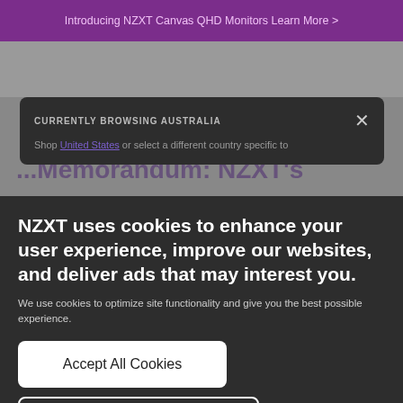Introducing NZXT Canvas QHD Monitors Learn More >
NZXT
CURRENTLY BROWSING AUSTRALIA
Shop United States or select a different country specific to
NZXT uses cookies to enhance your user experience, improve our websites, and deliver ads that may interest you.
We use cookies to optimize site functionality and give you the best possible experience.
Accept All Cookies
I Do Not Accept Cookies
Settings